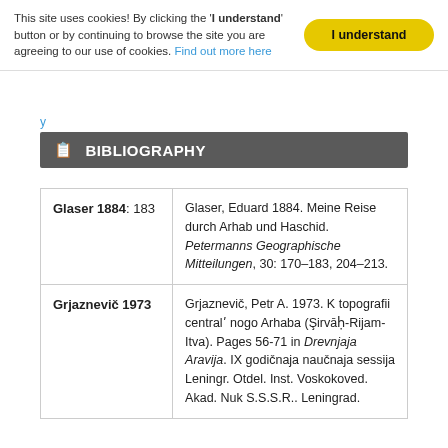This site uses cookies! By clicking the 'I understand' button or by continuing to browse the site you are agreeing to our use of cookies. Find out more here
I understand
BIBLIOGRAPHY
| Key | Reference |
| --- | --- |
| Glaser 1884: 183 | Glaser, Eduard 1884. Meine Reise durch Arhab und Haschid. Petermanns Geographische Mitteilungen, 30: 170–183, 204–213. |
| Grjaznevič 1973 | Grjaznevič, Petr A. 1973. K topografii centralʹ nogo Arhaba (şirvāḥ-Rijam-Itva). Pages 56-71 in Drevnjaja Aravija. IX godičnaja naučnaja sessija Leningr. Otdel. Inst. Voskokoved. Akad. Nuk S.S.S.R.. Leningrad. |